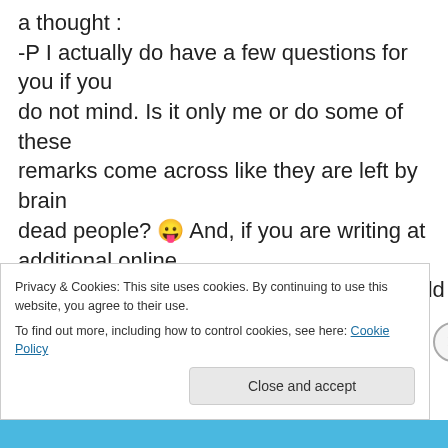a thought :
-P I actually do have a few questions for you if you do not mind. Is it only me or do some of these remarks come across like they are left by brain dead people? 😛 And, if you are writing at additional online social sites, I would like to follow you. Could you list every one of your public pages like your Facebook page, twitter feed, or linkedin profile?
Privacy & Cookies: This site uses cookies. By continuing to use this website, you agree to their use.
To find out more, including how to control cookies, see here: Cookie Policy